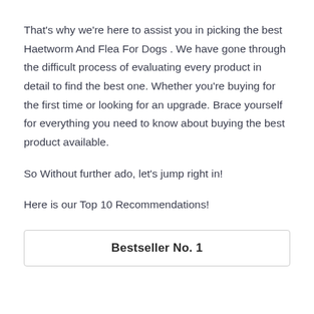That's why we're here to assist you in picking the best Haetworm And Flea For Dogs . We have gone through the difficult process of evaluating every product in detail to find the best one. Whether you're buying for the first time or looking for an upgrade. Brace yourself for everything you need to know about buying the best product available.
So Without further ado, let's jump right in!
Here is our Top 10 Recommendations!
| Bestseller No. 1 |